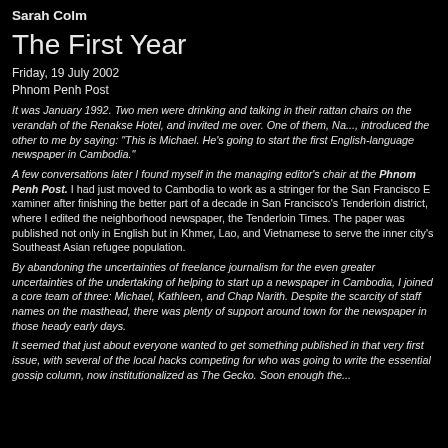Sarah Colm
The First Year
Friday, 19 July 2002
Phnom Penh Post
It was January 1992. Two men were drinking and talking in their rattan chairs on the verandah of the Renakse Hotel, and invited me over. One of them, Nat..., introduced the other to me by saying: "This is Michael. He's going to start the first English language newspaper in Cambodia."
A few conversations later I found myself in the managing editor's chair at the Phnom Penh Post. I had just moved to Cambodia to work as a stringer for the San Francisco Examiner after finishing the better part of a decade in San Francisco's Tenderloin district, where I had edited the neighborhood newspaper, the Tenderloin Times. The paper was published not only in English but in Khmer, Lao, and Vietnamese to serve the inner city's Southeast Asian refugee population.
By abandoning the uncertainties of freelance journalism for the even greater uncertainties of undertaking of helping to start up a newspaper in Cambodia, I joined a core team of three: Michael, Kathleen, and Chap Narith. Despite the scarcity of staff names visible on the masthead, there was plenty of support around town for the newspaper in those heady early days.
It seemed that just about everyone wanted to get something published in that very first issue, with several of the local hacks competing for who was going to write the essential gossip column, now institutionalized as The Gecko. Soon enough the...